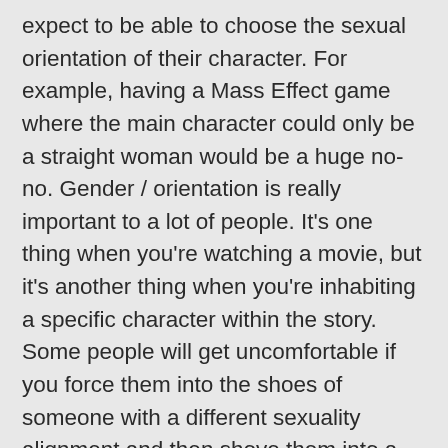expect to be able to choose the sexual orientation of their character. For example, having a Mass Effect game where the main character could only be a straight woman would be a huge no-no. Gender / orientation is really important to a lot of people. It's one thing when you're watching a movie, but it's another thing when you're inhabiting a specific character within the story. Some people will get uncomfortable if you force them into the shoes of someone with a different sexuality alignment and then shove them into a romance. Other people will feel excluded if you don't include their alignment. Others don't seem to care one way or another and are happy to go through whatever pairing the game throws at them, as long as it makes for a good story. Still others don't care what